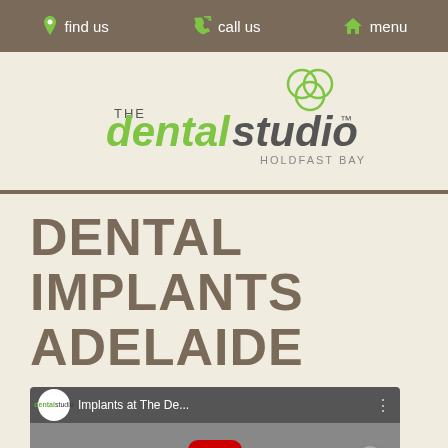find us  call us  menu
[Figure (logo): The Dental Studio Holdfast Bay logo with green 'dentalstudio' text and overlapping circles icon]
DENTAL IMPLANTS ADELAIDE
[Figure (screenshot): YouTube video thumbnail showing 'Implants at The De...' video from dental studio channel with YouTube play button overlay]